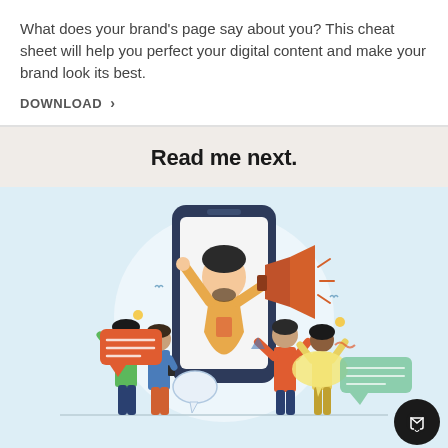What does your brand's page say about you? This cheat sheet will help you perfect your digital content and make your brand look its best.
DOWNLOAD >
Read me next.
[Figure (illustration): Flat illustration showing a person emerging from a large smartphone holding a megaphone, surrounded by several people gesturing and engaging, with speech bubbles and chat icons on a light blue background.]